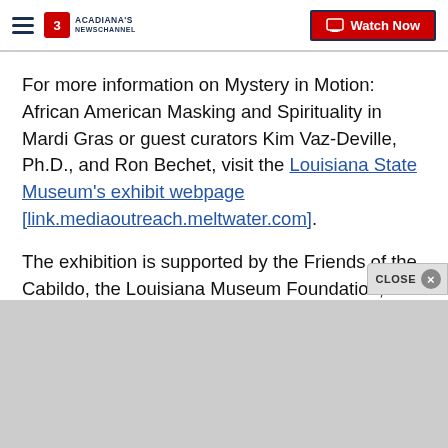Acadiana's Newschannel — Watch Now
For more information on Mystery in Motion: African American Masking and Spirituality in Mardi Gras or guest curators Kim Vaz-Deville, Ph.D., and Ron Bechet, visit the Louisiana State Museum's exhibit webpage [link.mediaoutreach.meltwater.com].
The exhibition is supported by the Friends of the Cabildo, the Louisiana Museum Foundation, Xavier University of Louisiana, the New Orleans Center for the Gulf South, the Jazz & Heritage Foundation, th…